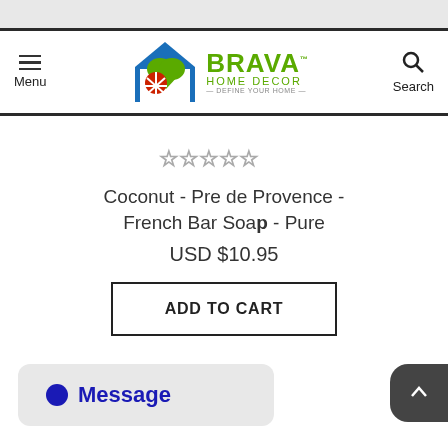[Figure (logo): Brava Home Decor logo with house icon and green/red/blue design elements]
Menu | Brava Home Decor | Search
[Figure (other): Five empty star rating icons]
Coconut - Pre de Provence - French Bar Soap - Pure
USD $10.95
ADD TO CART
Message
[Figure (other): Scroll-to-top arrow button]